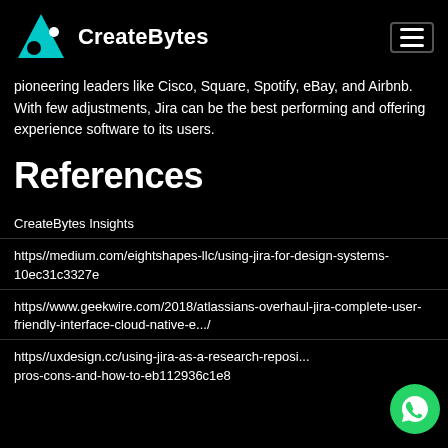CreateBytes
pioneering leaders like Cisco, Square, Spotify, eBay, and Airbnb. With few adjustments, Jira can be the best performing and offering experience software to its users.
References
CreateBytes Insights
https//medium.com/eightshapes-llc/using-jira-for-design-systems-10ec31c3327e
https//www.geekwire.com/2018/atlassians-overhaul-jira-complete-user-friendly-interface-cloud-native-e.../
https//uxdesign.cc/using-jira-as-a-research-reposi... pros-cons-and-how-to-eb112936c1e8